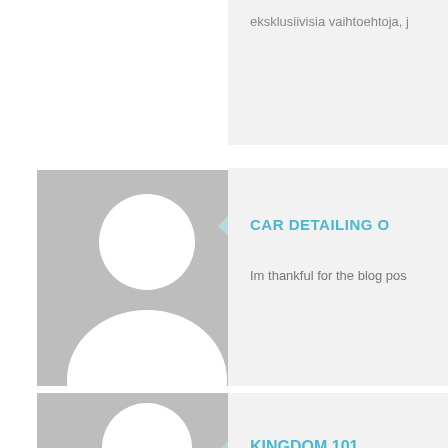eksklusiivisia vaihtoehtoja, j...
[Figure (illustration): Default user avatar placeholder - grey rectangle with white person silhouette (head circle and shoulders), top instance]
CAR DETAILING O...
Im thankful for the blog pos...
[Figure (illustration): Default user avatar placeholder - grey rectangle with white person silhouette (head circle and shoulders), bottom instance]
KINGDOM 101
Awesome things here. I'm v...